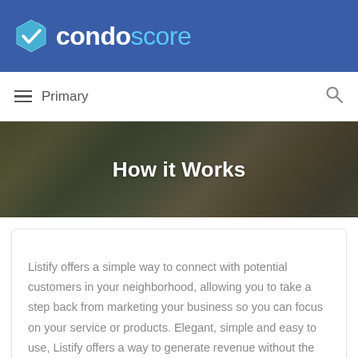condoscore
Primary
How it Works
Listify offers a simple way to connect with potential customers in your neighborhood, allowing you to take a step back from marketing your business so you can focus on your service or products. Elegant, simple and easy to use, Listify offers a way to generate revenue without the headaches.